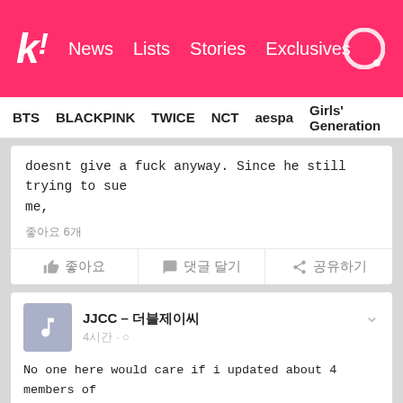k! News  Lists  Stories  Exclusives
BTS  BLACKPINK  TWICE  NCT  aespa  Girls' Generation
doesnt give a fuck anyway. Since he still trying to sue me,
좋아요 6개
👍 좋아요   💬 댓글 달기   ➤ 공유하기
JJCC – 더블제이씨
4시간 · ○
No one here would care if i updated about 4 members of JJCC while blurring and editing out prince mak right? If you understand the nonsense message he sent me and understand how he just pisses me off, you will understand why he should be removed from this page as part of updates.
See Eddy is so nice compared to Prince Mak. Eddy said It